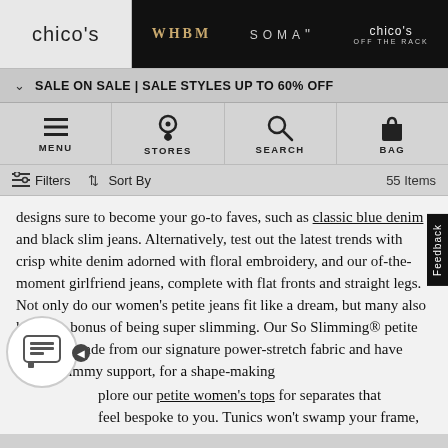chico's | WHBM | SOMA | chico's OFF THE RACK
SALE ON SALE | SALE STYLES UP TO 60% OFF
MENU | STORES | SEARCH | BAG
Filters | Sort By | 55 Items
designs sure to become your go-to faves, such as classic blue denim and black slim jeans. Alternatively, test out the latest trends with crisp white denim adorned with floral embroidery, and our of-the-moment girlfriend jeans, complete with flat fronts and straight legs. Not only do our women's petite jeans fit like a dream, but many also have the bonus of being super slimming. Our So Slimming® petite jeans are made from our signature power-stretch fabric and have hidden tummy support, for a shape-making ...plore our petite women's tops for separates that feel bespoke to you. Tunics won't swamp your frame,